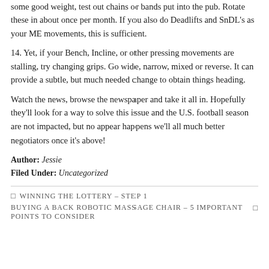some good weight, test out chains or bands put into the pub. Rotate these in about once per month. If you also do Deadlifts and SnDL's as your ME movements, this is sufficient.
14. Yet, if your Bench, Incline, or other pressing movements are stalling, try changing grips. Go wide, narrow, mixed or reverse. It can provide a subtle, but much needed change to obtain things heading.
Watch the news, browse the newspaper and take it all in. Hopefully they'll look for a way to solve this issue and the U.S. football season are not impacted, but no appear happens we'll all much better negotiators once it's above!
Author: Jessie
Filed Under: Uncategorized
← WINNING THE LOTTERY – STEP 1
BUYING A BACK ROBOTIC MASSAGE CHAIR – 5 IMPORTANT POINTS TO CONSIDER →